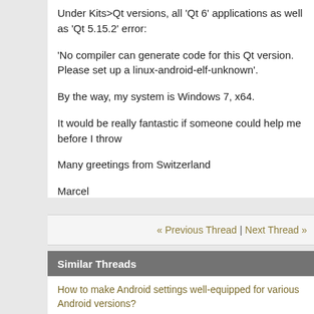Under Kits>Qt versions, all 'Qt 6' applications as well as 'Qt 5.15.2' error:
'No compiler can generate code for this Qt version. Please set up a linux-android-elf-unknown'.
By the way, my system is Windows 7, x64.
It would be really fantastic if someone could help me before I throw
Many greetings from Switzerland
Marcel
« Previous Thread | Next Thread »
Similar Threads
How to make Android settings well-equipped for various Android versions?
By franky in forum Qt Quick
why when i create Qt Quick UI in Qt, for android it can not build for android